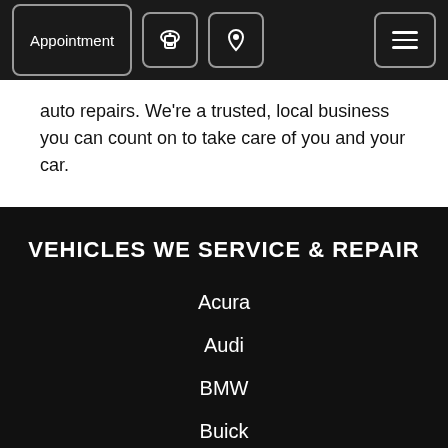Appointment | Phone | Location | Menu
auto repairs. We're a trusted, local business you can count on to take care of you and your car.
VEHICLES WE SERVICE & REPAIR
Acura
Audi
BMW
Buick
Cadillac
Chevrolet